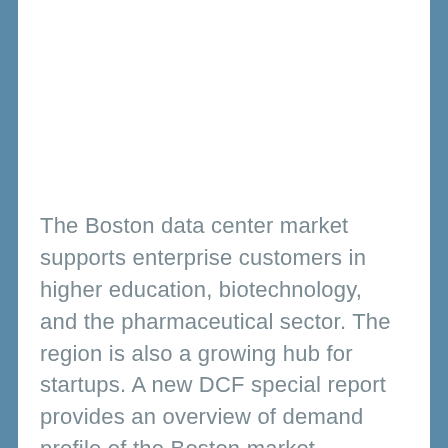The Boston data center market supports enterprise customers in higher education, biotechnology, and the pharmaceutical sector. The region is also a growing hub for startups. A new DCF special report provides an overview of demand profile of the Boston market.